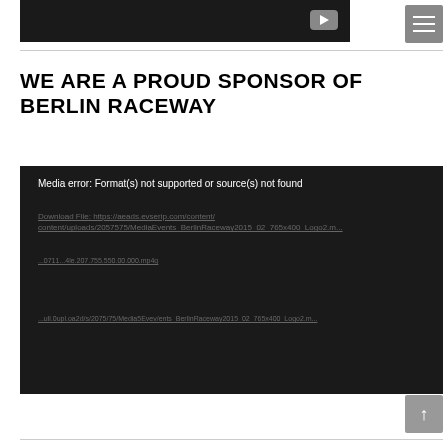[Figure (screenshot): Dark video thumbnail area at top with a grey play button]
[Figure (screenshot): Grey hamburger menu icon in top right corner]
WE ARE A PROUD SPONSOR OF BERLIN RACEWAY
[Figure (screenshot): Dark media player showing error: Media error: Format(s) not supported or source(s) not found, with download file links shown in grey underlined text]
[Figure (screenshot): Grey scroll-to-top arrow button in bottom right corner]